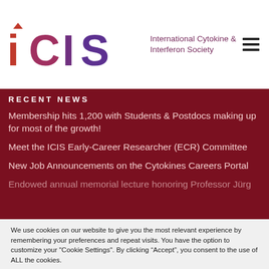[Figure (logo): ICIS - International Cytokine & Interferon Society logo with stylized colorful text and subtitle]
RECENT NEWS
Membership hits 1,200 with Students & Postdocs making up for most of the growth!
Meet the ICIS Early-Career Researcher (ECR) Committee
New Job Announcements on the Cytokines Careers Portal
Endowed annual memorial lecture honoring Professor Jürg
We use cookies on our website to give you the most relevant experience by remembering your preferences and repeat visits. You have the option to customize your "Cookie Settings". By clicking “Accept”, you consent to the use of ALL the cookies.
Cookie settings   ACCEPT